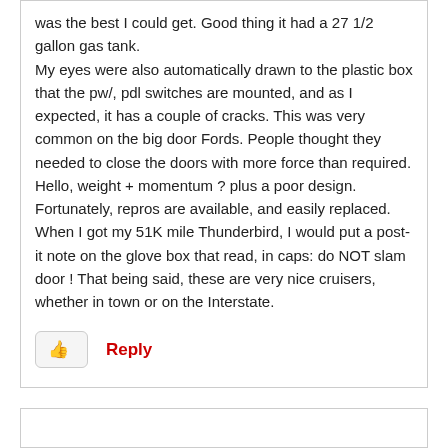was the best I could get. Good thing it had a 27 1/2 gallon gas tank.
My eyes were also automatically drawn to the plastic box that the pw/, pdl switches are mounted, and as I expected, it has a couple of cracks. This was very common on the big door Fords. People thought they needed to close the doors with more force than required. Hello, weight + momentum ? plus a poor design. Fortunately, repros are available, and easily replaced. When I got my 51K mile Thunderbird, I would put a post-it note on the glove box that read, in caps: do NOT slam door ! That being said, these are very nice cruisers, whether in town or on the Interstate.